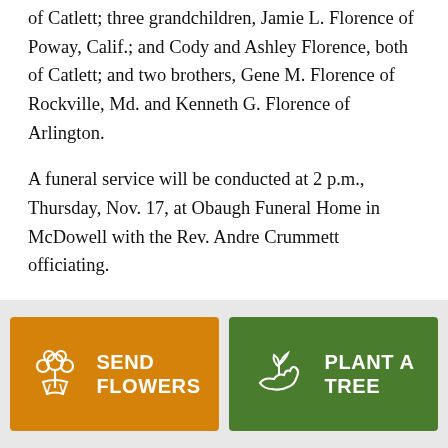of Catlett; three grandchildren, Jamie L. Florence of Poway, Calif.; and Cody and Ashley Florence, both of Catlett; and two brothers, Gene M. Florence of Rockville, Md. and Kenneth G. Florence of Arlington.
A funeral service will be conducted at 2 p.m., Thursday, Nov. 17, at Obaugh Funeral Home in McDowell with the Rev. Andre Crummett officiating.
Burial will be in Head Waters Cemetery.
Active pallbearers will be Ronnie Miller, Steve and
[Figure (other): Two call-to-action buttons: orange 'SEND FLOWERS' button with flower icon on left, green 'PLANT A TREE' button with plant/hand icon on right]